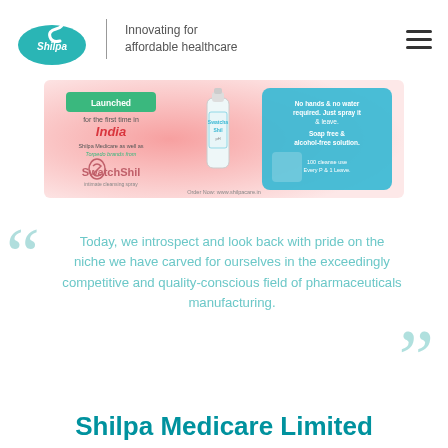[Figure (logo): Shilpa Medicare logo — teal oval with stylized S and arrow, text 'Shilpa' below, tagline 'Innovating for affordable healthcare' to the right]
[Figure (infographic): SwatchShil intimate cleansing spray product banner — pink/red gradient background on left with 'Launched for the first time in India' text, product bottle in center, blue info panel on right describing no-hands/no-water use, soap-free & alcohol-free solution]
Today, we introspect and look back with pride on the niche we have carved for ourselves in the exceedingly competitive and quality-conscious field of pharmaceuticals manufacturing.
Shilpa Medicare Limited